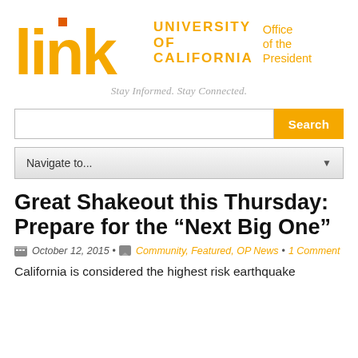[Figure (logo): UC Link newsletter logo: large orange 'link' wordmark with small orange square dot over the 'i', next to 'UNIVERSITY OF CALIFORNIA' in bold orange caps and 'Office of the President' in orange]
Stay Informed. Stay Connected.
Great Shakeout this Thursday: Prepare for the “Next Big One”
October 12, 2015 • Community, Featured, OP News • 1 Comment
California is considered the highest risk earthquake